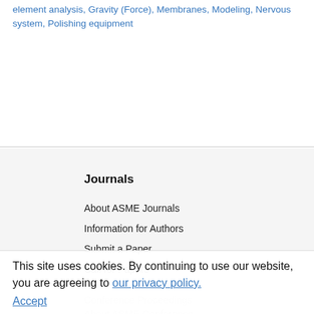element analysis, Gravity (Force), Membranes, Modeling, Nervous system, Polishing equipment
Journals
About ASME Journals
Information for Authors
Submit a Paper
Call for Papers
Conference Proceedings
About ASME Conference
This site uses cookies. By continuing to use our website, you are agreeing to our privacy policy. Accept